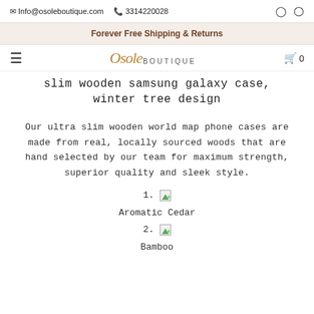Info@osoleboutique.com  3314220028
Forever Free Shipping & Returns
Osole BOUTIQUE  0
slim wooden samsung galaxy case, winter tree design
Our ultra slim wooden world map phone cases are made from real, locally sourced woods that are hand selected by our team for maximum strength, superior quality and sleek style.
1. [image] Aromatic Cedar
2. [image] Bamboo